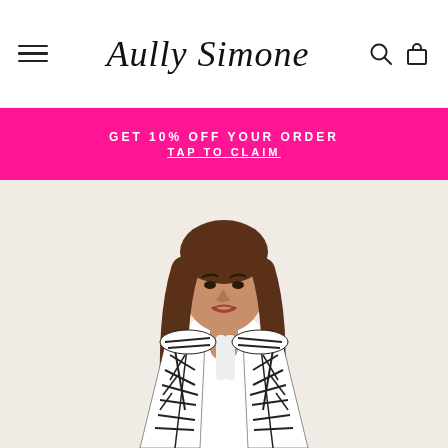Aully Simone — navigation header with hamburger menu, brand logo, search and cart icons
GET 10% OFF YOUR ORDER
TAP TO CLAIM
[Figure (photo): Fashion model wearing a white bodysuit and a black-and-white geometric print blazer/jacket, with long brown hair, photographed against a light cream/white background]